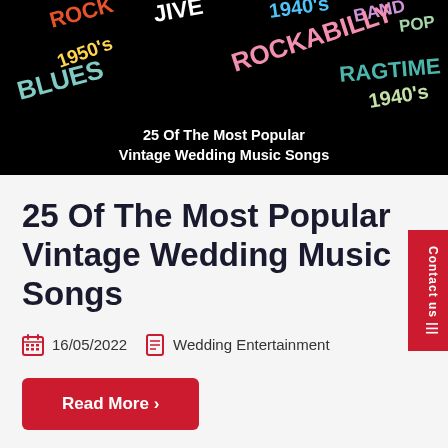[Figure (illustration): Black banner with colorful music genre words (ROCK, JIVE, 1940s, BAND, POP, 1950s, ROCKABILLY, RAGTIME, BLUES, 1940s) and white bold text '25 Of The Most Popular Vintage Wedding Music Songs']
25 Of The Most Popular Vintage Wedding Music Songs
16/05/2022  Wedding Entertainment
Read More >